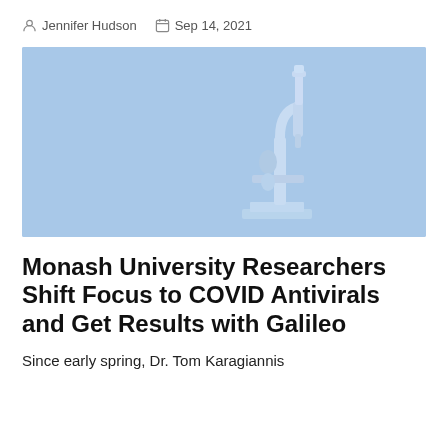Jennifer Hudson  Sep 14, 2021
[Figure (photo): A light blue microscope on a light blue background, positioned on the right side of the image.]
Monash University Researchers Shift Focus to COVID Antivirals and Get Results with Galileo
Since early spring, Dr. Tom Karagiannis